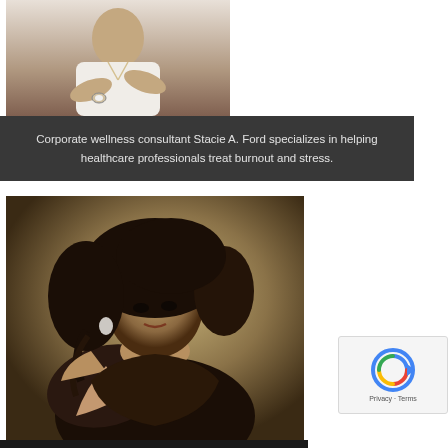[Figure (photo): Person in white shirt with arms crossed, partial upper body photo]
Corporate wellness consultant Stacie A. Ford specializes in helping healthcare professionals treat burnout and stress.
[Figure (photo): Portrait of a woman with curly dark hair wearing a dark off-shoulder dress, looking back over her shoulder]
[Figure (other): reCAPTCHA widget with Privacy and Terms links]